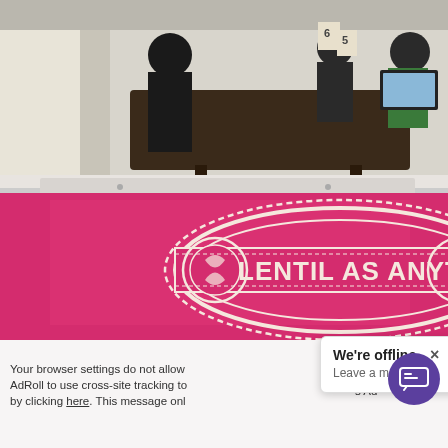[Figure (photo): Restaurant interior photo (top half): people seated at dark wooden tables in a bright cafe. Bottom half: bright magenta/pink background with a decorative white logo reading 'LENTIL AS ANYT' (partially cropped). A laptop screen reflection is visible between the two halves.]
Your browser settings do not allow AdRoll to use cross-site tracking to by clicking here. This message onl
We're offline
Leave a message
ept a... is s Ad...